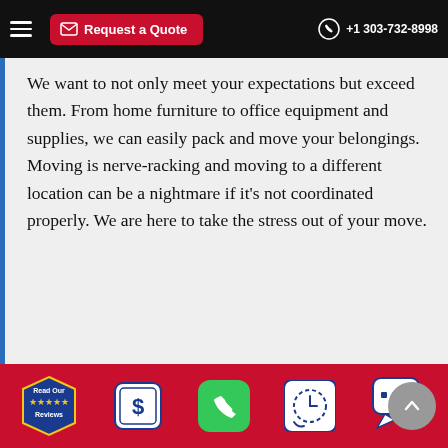Request a Quote | +1 303-732-8998
We want to not only meet your expectations but exceed them. From home furniture to office equipment and supplies, we can easily pack and move your belongings. Moving is nerve-racking and moving to a different location can be a nightmare if it’s not coordinated properly. We are here to take the stress out of your move.
Affordable Nearby Long-Distance Movers 80111
We love to see our customers reach their destination ready to enjoy their new home. The Colorado Premiere Moving
Read Our Reviews | $ | Phone | Schedule | Chat